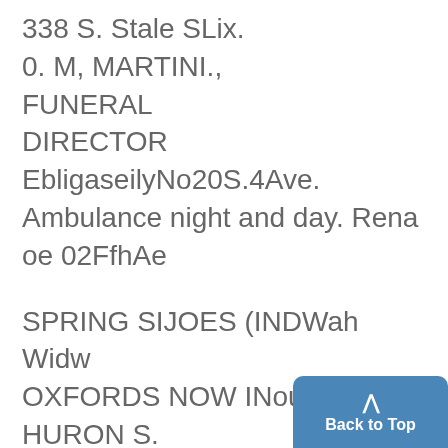338 S. Stale SLix.
0. M, MARTINI.,
FUNERAL DIRECTOR
EbligaseilyNo20S.4Ave. Ambulance night and day. Rena oe 02FfhAe
SPRING SIJOES (INDWah Widw OXFORDS NOW INou 110 E. HURON S.
3%--
DI 1 1I L r. ~ ffU fIETEDI E Emba lEast William Street